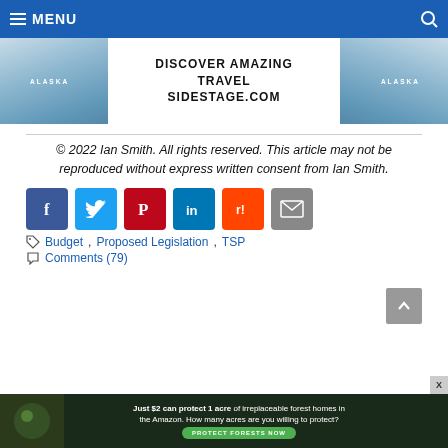MENU
[Figure (photo): Alaska travel advertisement banner with ice/glacier imagery and text: DISCOVER AMAZING TRAVEL SIDESTAGE.COM]
© 2022 Ian Smith. All rights reserved. This article may not be reproduced without express written consent from Ian Smith.
[Figure (infographic): Social media share buttons: Facebook (blue), Twitter (light blue), Pinterest (red), LinkedIn (dark blue), Reddit (orange), Email (gray)]
Budget, Proposed Legislation, TSP
Comments (79)
[Figure (photo): Forest conservation advertisement: Just $2 can protect 1 acre of irreplaceable forest homes in the Amazon. How many acres are you willing to protect? PROTECT FORESTS NOW]